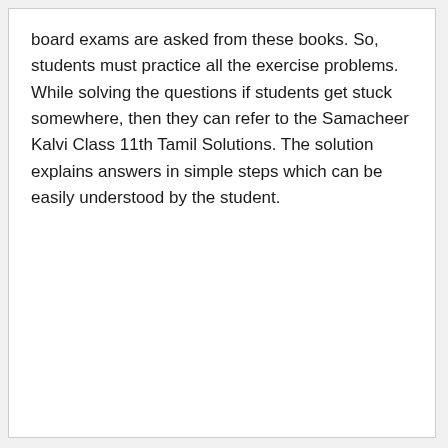board exams are asked from these books. So, students must practice all the exercise problems. While solving the questions if students get stuck somewhere, then they can refer to the Samacheer Kalvi Class 11th Tamil Solutions. The solution explains answers in simple steps which can be easily understood by the student.